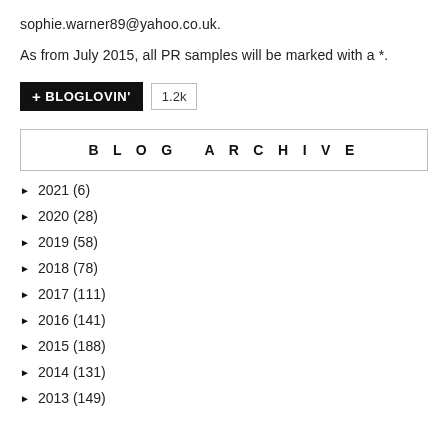sophie.warner89@yahoo.co.uk.
As from July 2015, all PR samples will be marked with a *.
[Figure (other): Bloglovin follow button with +BLOGLOVIN' text in black background and 1.2k count badge]
BLOG ARCHIVE
2021 (6)
2020 (28)
2019 (58)
2018 (78)
2017 (111)
2016 (141)
2015 (188)
2014 (131)
2013 (149)